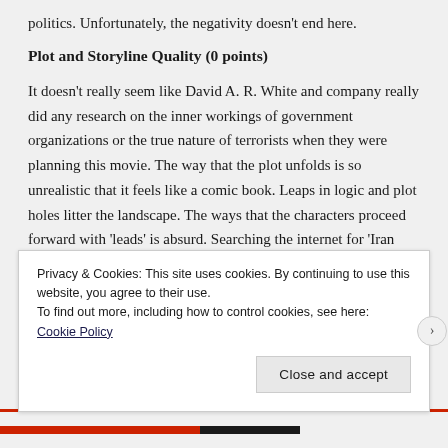politics.  Unfortunately, the negativity doesn't end here.
Plot and Storyline Quality (0 points)
It doesn't really seem like David A. R. White and company really did any research on the inner workings of government organizations or the true nature of terrorists when they were planning this movie.  The way that the plot unfolds is so unrealistic that it feels like a comic book.  Leaps in logic and plot holes litter the landscape.  The ways that the characters proceed forward with 'leads' is absurd.  Searching the internet for 'Iran Shipping Ltd' and then snooping around in a house they own to see whether or not they have nuclear weapons
Privacy & Cookies: This site uses cookies. By continuing to use this website, you agree to their use.
To find out more, including how to control cookies, see here: Cookie Policy
Close and accept